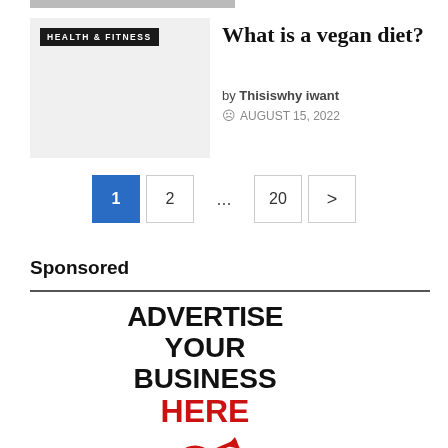[Figure (photo): Partial top image strip cropped at top of page]
[Figure (photo): Article thumbnail image placeholder with HEALTH & FITNESS badge, light gray background]
What is a vegan diet?
by Thisiswhy iwant
AUGUST 15, 2022
1 2 ... 20 >
Sponsored
[Figure (infographic): Advertisement reading ADVERTISE YOUR BUSINESS HERE with red target/bullseye icon]